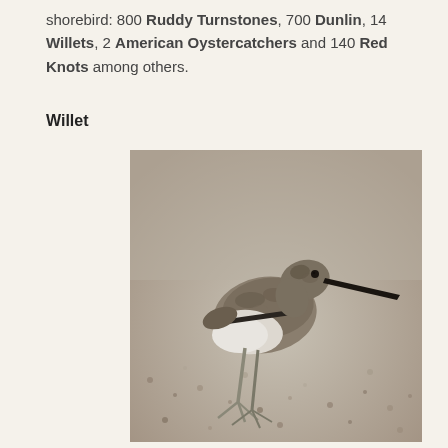shorebird:  800 Ruddy Turnstones, 700 Dunlin, 14 Willets, 2 American Oystercatchers and 140 Red Knots among others.
Willet
[Figure (photo): A Willet shorebird standing on gravel/sandy ground, showing brown-grey mottled plumage on back and wings, white underparts, long grey legs, and a long straight dark bill. The background is blurred gravel.]